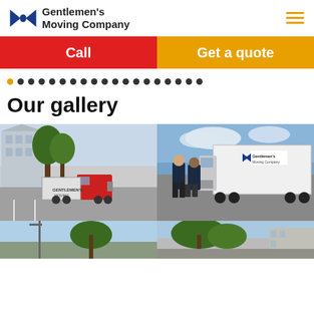Gentlemen's Moving Company
Call | Get a quote
[Figure (other): Pagination dots row, first dot highlighted in orange]
Our gallery
[Figure (photo): Red semi-truck with Gentlemen's Moving Company trailer parked in a lot next to an apartment building and trees]
[Figure (photo): Two movers in dark uniforms standing in front of a white Gentlemen's Moving Company box truck in a parking lot with blue sky background]
[Figure (photo): Partial bottom-left gallery image showing a light pole and trees under blue sky]
[Figure (photo): Partial bottom-right gallery image showing trees and a building edge]